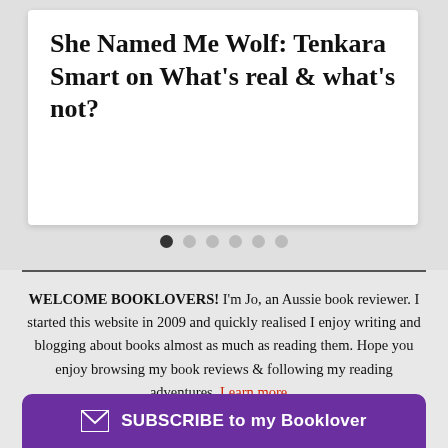She Named Me Wolf: Tenkara Smart on What's real & what's not?
[Figure (infographic): Carousel pagination dots: 6 dots, first one active (dark), remaining 5 inactive (grey)]
WELCOME BOOKLOVERS!  I'm Jo, an Aussie book reviewer. I started this website in 2009 and quickly realised I enjoy writing and blogging about books almost as much as reading them. Hope you enjoy browsing my book reviews & following my reading adventures. Learn more...
SUBSCRIBE to my Booklover